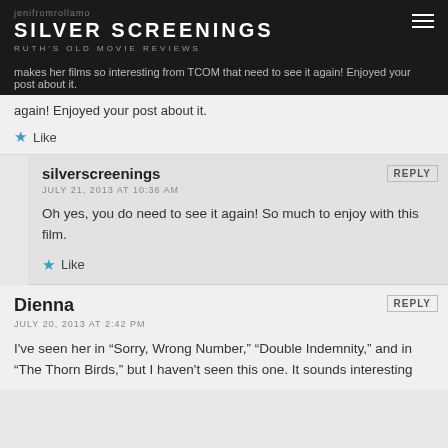jenifromrollamo
SILVER SCREENINGS
RUTH'S OLD MOVIE REVIEWS
makes her films so interesting from TCOM that need to see it again! Enjoyed your post about it.
Like
silverscreenings
JULY 21, 2013 AT 10:36 AM
Oh yes, you do need to see it again! So much to enjoy with this film.
Like
Dienna
JULY 20, 2013 AT 2:42 PM
I've seen her in “Sorry, Wrong Number,” “Double Indemnity,” and in “The Thorn Birds,” but I haven't seen this one. It sounds interesting